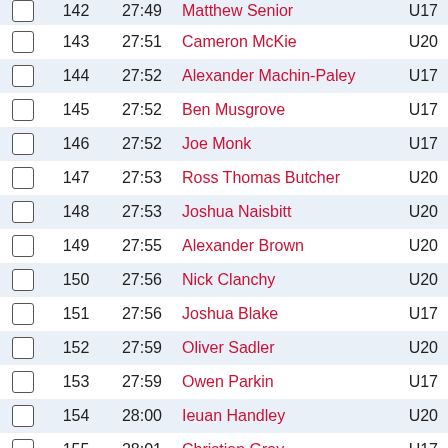|  | Pos | Time | Name | Cat |
| --- | --- | --- | --- | --- |
|  | 142 | 27:49 | Matthew Senior | U17 |
|  | 143 | 27:51 | Cameron McKie | U20 |
|  | 144 | 27:52 | Alexander Machin-Paley | U17 |
|  | 145 | 27:52 | Ben Musgrove | U17 |
|  | 146 | 27:52 | Joe Monk | U17 |
|  | 147 | 27:53 | Ross Thomas Butcher | U20 |
|  | 148 | 27:53 | Joshua Naisbitt | U20 |
|  | 149 | 27:55 | Alexander Brown | U20 |
|  | 150 | 27:56 | Nick Clanchy | U20 |
|  | 151 | 27:56 | Joshua Blake | U17 |
|  | 152 | 27:59 | Oliver Sadler | U20 |
|  | 153 | 27:59 | Owen Parkin | U17 |
|  | 154 | 28:00 | Ieuan Handley | U20 |
|  | 155 | 28:01 | Christian Gray | U17 |
|  | 156 | 28:01 | Ellis Garamzegi | U20 |
|  | 157 | 28:02 | Ross Hickie | U17 |
|  | 158 | 28:03 | Tom Holden | U20 |
|  | 159 | 28:04 | Matthew Beacock | U20 |
|  | 160 | 28:04 | Thomas Halling | U17 |